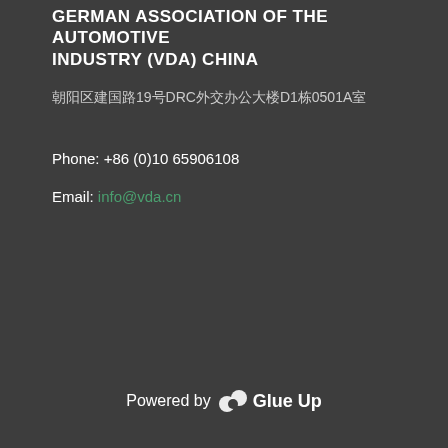GERMAN ASSOCIATION OF THE AUTOMOTIVE INDUSTRY (VDA) CHINA
朝阳区建国路19号DRC外交办公大楼D1栋0501A室
Phone: +86 (0)10 65906108
Email: info@vda.cn
Powered by GlueUp